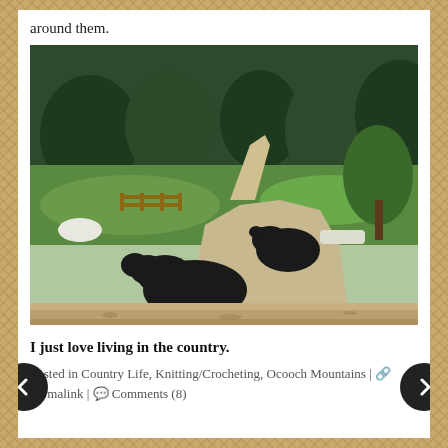around them.
[Figure (photo): Two black cows lying on a dirt farm driveway, with green fields, wooden fence, and trees in the background.]
I just love living in the country.
Posted in Country Life, Knitting/Crocheting, Ocooch Mountains | 🔗 Permalink | 💬 Comments (8)